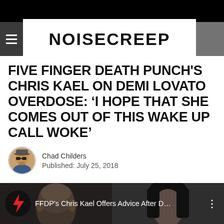NOISECREEP
FIVE FINGER DEATH PUNCH'S CHRIS KAEL ON DEMI LOVATO OVERDOSE: ‘I HOPE THAT SHE COMES OUT OF THIS WAKE UP CALL WOKE’
Chad Childers
Published: July 25, 2018
[Figure (screenshot): Video thumbnail showing two people's faces side by side with FFDP lightning bolt logo, title: FFDP's Chris Kael Offers Advice After D...]